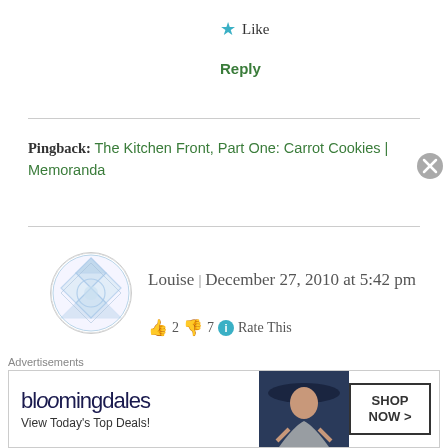★ Like
Reply
Pingback: The Kitchen Front, Part One: Carrot Cookies | Memoranda
[Figure (illustration): User avatar circle with blue geometric pattern]
Louise | December 27, 2010 at 5:42 pm
👍 2 👎 7 ℹ Rate This
Its commendable, not to say ever so slightly weird, to embark this sort of thing- you must be so dedicated.
I've read the comments on here and i must say many seem to only want to write about the positive side o
Advertisements
[Figure (screenshot): Bloomingdale's advertisement banner: bloomingdales logo, View Today's Top Deals!, woman with hat, SHOP NOW > button]